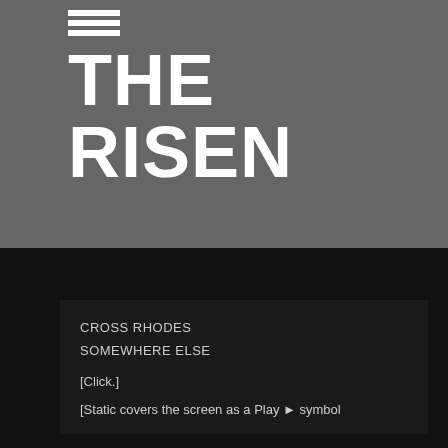[Figure (other): Menu hamburger icon — three horizontal white bars on gray background]
THE RISEN
CROSS RHODES
SOMEWHERE ELSE

[Click.]

[Static covers the screen as a Play ► symbol